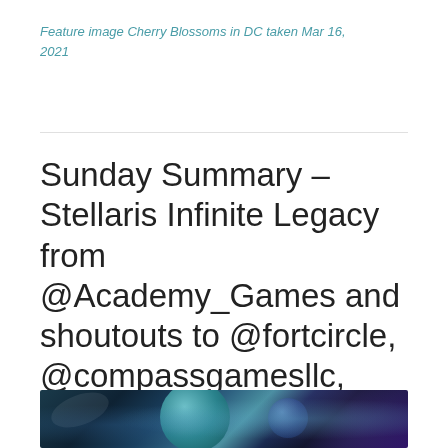Feature image Cherry Blossoms in DC taken Mar 16, 2021
Sunday Summary – Stellaris Infinite Legacy from @Academy_Games and shoutouts to @fortcircle, @compassgamesllc, @gmtgames
[Figure (photo): Space scene with planets and starships, featuring a teal gas giant planet and a dark blue planet against a starry nebula background]